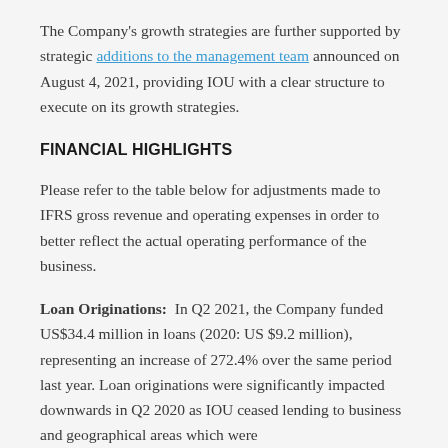The Company's growth strategies are further supported by strategic additions to the management team announced on August 4, 2021, providing IOU with a clear structure to execute on its growth strategies.
FINANCIAL HIGHLIGHTS
Please refer to the table below for adjustments made to IFRS gross revenue and operating expenses in order to better reflect the actual operating performance of the business.
Loan Originations: In Q2 2021, the Company funded US$34.4 million in loans (2020: US $9.2 million), representing an increase of 272.4% over the same period last year. Loan originations were significantly impacted downwards in Q2 2020 as IOU ceased lending to business and geographical areas which were